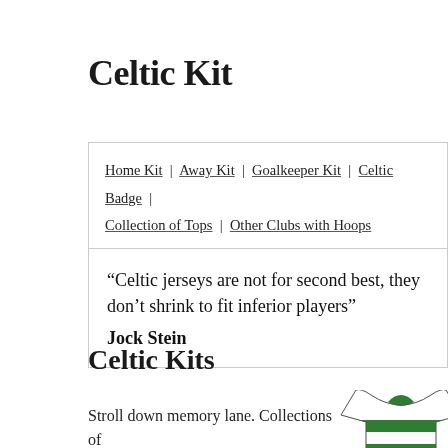Celtic Kit
Home Kit | Away Kit | Goalkeeper Kit | Celtic Badge | Collection of Tops | Other Clubs with Hoops
“Celtic jerseys are not for second best, they don’t shrink to fit inferior players” Jock Stein
Celtic Kits
Stroll down memory lane. Collections of
[Figure (photo): Green and white hooped Celtic jersey/shirt shown from above on the right side of the page]